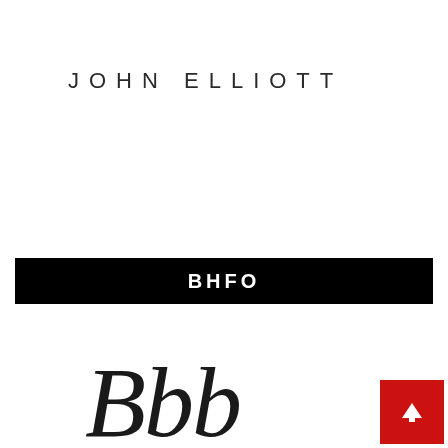JOHN ELLIOTT
BHFO
[Figure (logo): Cursive/script brand logo partially visible at bottom of page]
[Figure (other): Red scroll-to-top button with white upward arrow icon in bottom right corner]